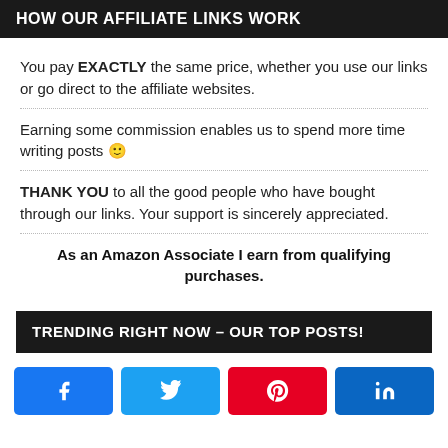HOW OUR AFFILIATE LINKS WORK
You pay EXACTLY the same price, whether you use our links or go direct to the affiliate websites.
Earning some commission enables us to spend more time writing posts 🙂
THANK YOU to all the good people who have bought through our links. Your support is sincerely appreciated.
As an Amazon Associate I earn from qualifying purchases.
TRENDING RIGHT NOW – OUR TOP POSTS!
[Figure (other): Social share buttons: Facebook, Twitter, Pinterest, LinkedIn]